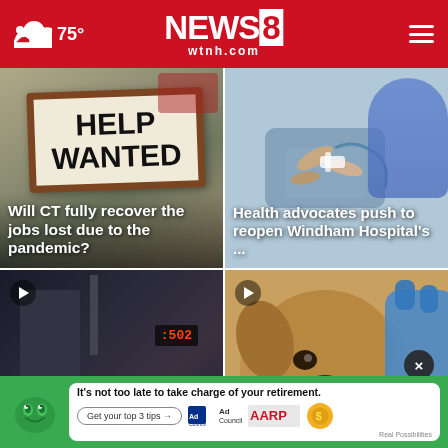NEWS 8 wtnh.com | 75°
[Figure (photo): Help Wanted sign with headline: Will CT fully recover the jobs lost due to the pandemic?]
[Figure (photo): Medical/health image with headline: Health advocates push to reopen Windham Hospital's ...]
[Figure (photo): Video thumbnail of street/transit scene with play button]
[Figure (photo): Video thumbnail of a dog being examined with play button and close (x) button]
It's not too late to take charge of your retirement. Get your top 3 tips →  Ad Council  AARP Real Possibilities